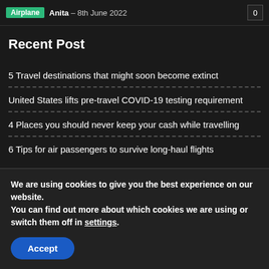Airplane  Anita – 8th June 2022  0
Recent Post
5 Travel destinations that might soon become extinct
United States lifts pre-travel COVID-19 testing requirement
4 Places you should never keep your cash while travelling
6 Tips for air passengers to survive long-haul flights
We are using cookies to give you the best experience on our website.
You can find out more about which cookies we are using or switch them off in settings.
Accept